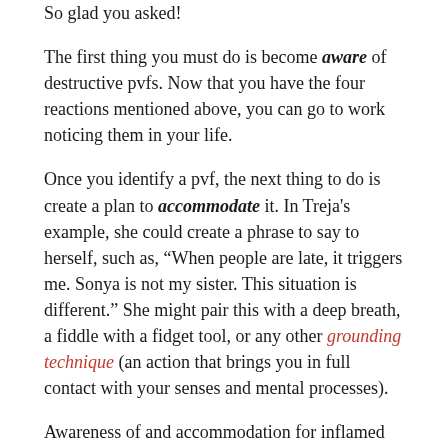So glad you asked!
The first thing you must do is become aware of destructive pvfs. Now that you have the four reactions mentioned above, you can go to work noticing them in your life.
Once you identify a pvf, the next thing to do is create a plan to accommodate it. In Treja's example, she could create a phrase to say to herself, such as, “When people are late, it triggers me. Sonya is not my sister. This situation is different.” She might pair this with a deep breath, a fiddle with a fidget tool, or any other grounding technique (an action that brings you in full contact with your senses and mental processes).
Awareness of and accommodation for inflamed emotional responses takes time and effort. Here’s some good news: Reading this article has taken you a fair way down the awareness road. Keep going!